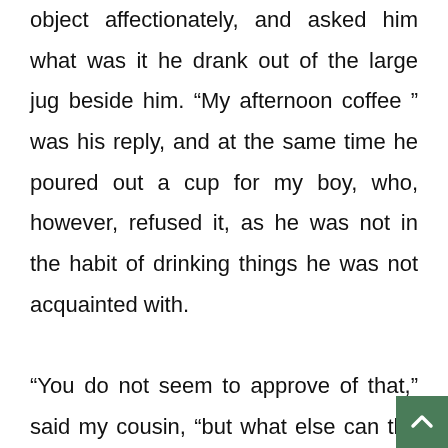object affectionately, and asked him what was it he drank out of the large jug beside him. “My afternoon coffee ” was his reply, and at the same time he poured out a cup for my boy, who, however, refused it, as he was not in the habit of drinking things he was not acquainted with.

“You do not seem to approve of that,” said my cousin, “but what else can the child drink, it is the only thing that seems to do him good; he cannot enjoy any thing els